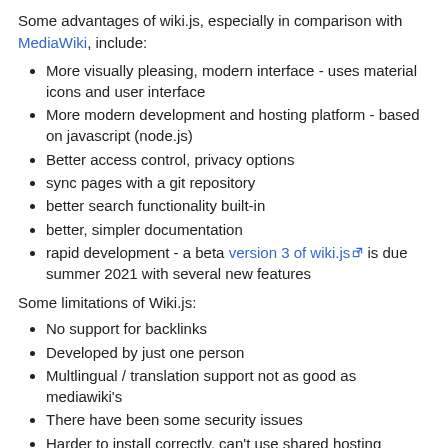Some advantages of wiki.js, especially in comparison with MediaWiki, include:
More visually pleasing, modern interface - uses material icons and user interface
More modern development and hosting platform - based on javascript (node.js)
Better access control, privacy options
sync pages with a git repository
better search functionality built-in
better, simpler documentation
rapid development - a beta version 3 of wiki.js is due summer 2021 with several new features
Some limitations of Wiki.js:
No support for backlinks
Developed by just one person
Multlingual / translation support not as good as mediawiki's
There have been some security issues
Harder to install correctly, can't use shared hosting
No 3rd party managed hosting options